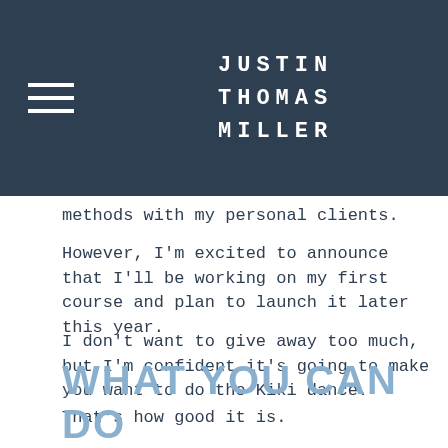JUSTIN THOMAS MILLER
methods with my personal clients.
However, I'm excited to announce that I'll be working on my first course and plan to launch it later this year.
I don't want to give away too much, but I'm confident it's going to make you want to do the Kiki dance.
That's how good it is.
WHAT YOU CAN DO